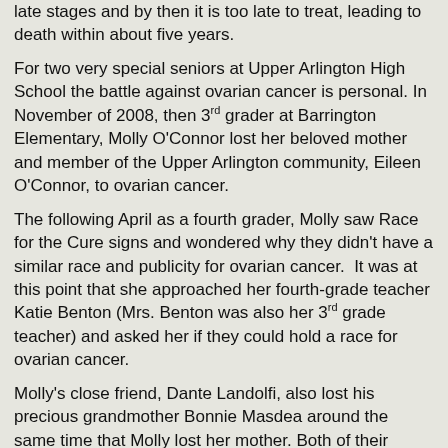late stages and by then it is too late to treat, leading to death within about five years.
For two very special seniors at Upper Arlington High School the battle against ovarian cancer is personal. In November of 2008, then 3rd grader at Barrington Elementary, Molly O'Connor lost her beloved mother and member of the Upper Arlington community, Eileen O'Connor, to ovarian cancer.
The following April as a fourth grader, Molly saw Race for the Cure signs and wondered why they didn't have a similar race and publicity for ovarian cancer.  It was at this point that she approached her fourth-grade teacher Katie Benton (Mrs. Benton was also her 3rd grade teacher) and asked her if they could hold a race for ovarian cancer.
Molly's close friend, Dante Landolfi, also lost his precious grandmother Bonnie Masdea around the same time that Molly lost her mother. Both of their fourth-grade classes teamed up and with the help of their teachers, developed the idea of a race which they coined Beat Michigan! Beat Cancer! Racing to Beat Ovarian Cancer.